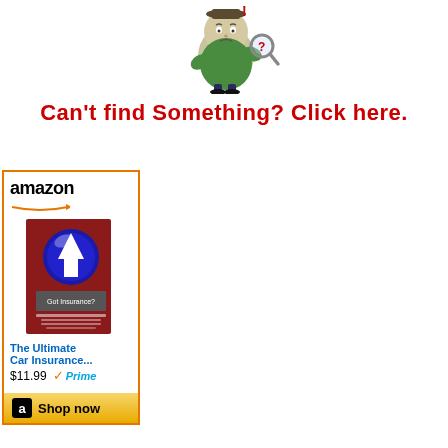[Figure (illustration): Cartoon man with magnifying glass and question mark, looking confused]
Can't find Something? Click here.
[Figure (other): Amazon advertisement for 'The Ultimate Car Insurance...' book priced at $11.99 with Prime badge and Shop now button]